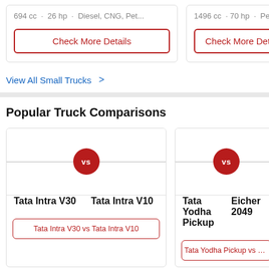694 cc · 26 hp · Diesel, CNG, Pet...
1496 cc · 70 hp · Petrol
Check More Details
Check More Detai...
View All Small Trucks >
Popular Truck Comparisons
[Figure (other): Comparison card with VS circle between Tata Intra V30 and Tata Intra V10]
Tata Intra V30  Tata Intra V10
Tata Intra V30 vs Tata Intra V10
[Figure (other): Comparison card with VS circle between Tata Yodha Pickup and Eicher 2049]
Tata Yodha Pickup  Eicher 2049
Tata Yodha Pickup vs Eich...